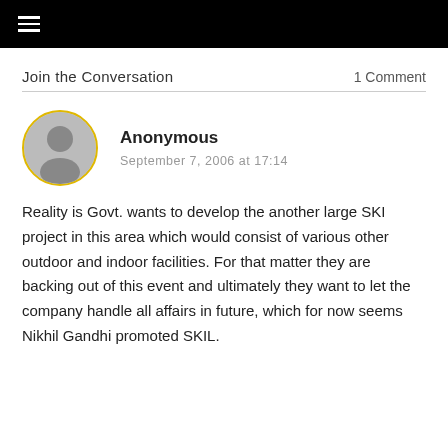☰
Join the Conversation
1 Comment
Anonymous
September 7, 2006 at 17:14
Reality is Govt. wants to develop the another large SKI project in this area which would consist of various other outdoor and indoor facilities. For that matter they are backing out of this event and ultimately they want to let the company handle all affairs in future, which for now seems Nikhil Gandhi promoted SKIL.